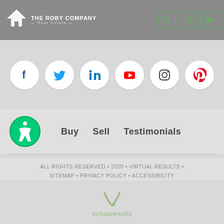The Roby Company Real Estate
[Figure (illustration): Social media icons row: Facebook, Twitter, LinkedIn, YouTube, Instagram, Pinterest in white circles on grey background]
[Figure (illustration): Accessibility icon (green circle with wheelchair symbol) and navigation links: Buy, Sell, Testimonials]
ALL RIGHTS RESERVED • 2020 • VIRTUAL RESULTS • SITEMAP • PRIVACY POLICY • ACCESSIBILITY
[Figure (logo): Virtual Results logo with green checkmark/swoosh and text 'virtualresults']